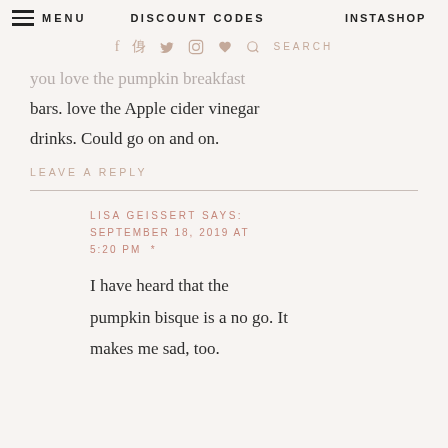MENU   DISCOUNT CODES   INSTASHOP
f  p  y  o  ♥  🔍  SEARCH
you love the pumpkin breakfast bars. love the Apple cider vinegar drinks. Could go on and on.
LEAVE A REPLY
LISA GEISSERT SAYS: SEPTEMBER 18, 2019 AT 5:20 PM *
I have heard that the pumpkin bisque is a no go. It makes me sad, too.